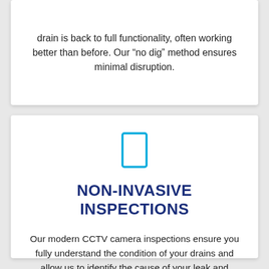drain is back to full functionality, often working better than before. Our “no dig” method ensures minimal disruption.
[Figure (illustration): A cyan/blue outlined rectangle icon representing a phone or mobile device]
NON-INVASIVE INSPECTIONS
Our modern CCTV camera inspections ensure you fully understand the condition of your drains and allow us to identify the cause of your leak and provide accurate quotes for repairs.